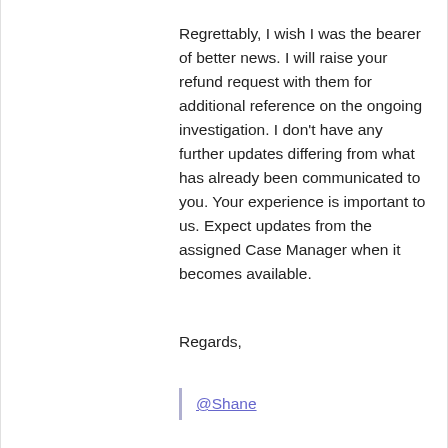Regrettably, I wish I was the bearer of better news. I will raise your refund request with them for additional reference on the ongoing investigation. I don't have any further updates differing from what has already been communicated to you. Your experience is important to us. Expect updates from the assigned Case Manager when it becomes available.
Regards,
@Shane